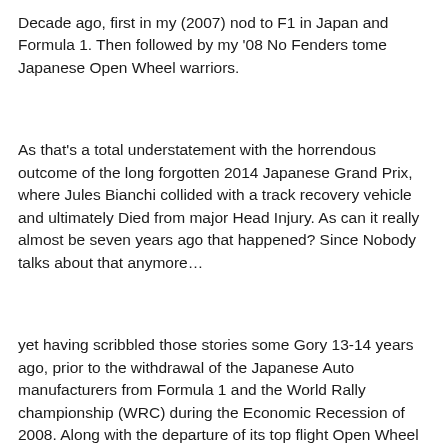Decade ago, first in my (2007) nod to F1 in Japan and Formula 1. Then followed by my '08 No Fenders tome Japanese Open Wheel warriors.
As that's a total understatement with the horrendous outcome of the long forgotten 2014 Japanese Grand Prix, where Jules Bianchi collided with a track recovery vehicle and ultimately Died from major Head Injury. As can it really almost be seven years ago that happened? Since Nobody talks about that anymore…
yet having scribbled those stories some Gory 13-14 years ago, prior to the withdrawal of the Japanese Auto manufacturers from Formula 1 and the World Rally championship (WRC) during the Economic Recession of 2008. Along with the departure of its top flight Open Wheel racers from the pinnacle of Motorsports, seeing F1 devoid of any Japanese drivers for the past six years-plus, (2013, 2015-2020) I thought it was High time to update this languishing story with Us now being firmly ensconced in this year's delayed summer Olympics and ironically, Honda once